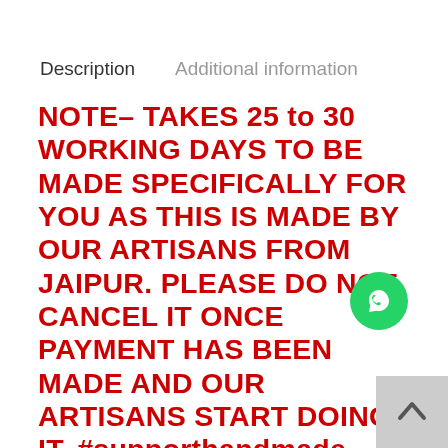Description    Additional information
NOTE– TAKES 25 to 30 WORKING DAYS TO BE MADE SPECIFICALLY FOR YOU AS THIS IS MADE BY OUR ARTISANS FROM JAIPUR. PLEASE DO NOT CANCEL IT ONCE PAYMENT HAS BEEN MADE AND OUR ARTISANS START DOING IT. #supporthandmade
[Figure (other): WhatsApp contact button (green circle with phone icon)]
[Figure (other): Scroll to top button (grey square with upward chevron)]